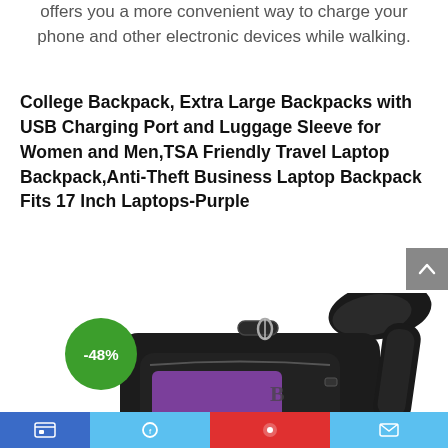offers you a more convenient way to charge your phone and other electronic devices while walking.
College Backpack, Extra Large Backpacks with USB Charging Port and Luggage Sleeve for Women and Men,TSA Friendly Travel Laptop Backpack,Anti-Theft Business Laptop Backpack Fits 17 Inch Laptops-Purple
[Figure (photo): Photo of a black and purple college backpack with a green discount badge showing -48%]